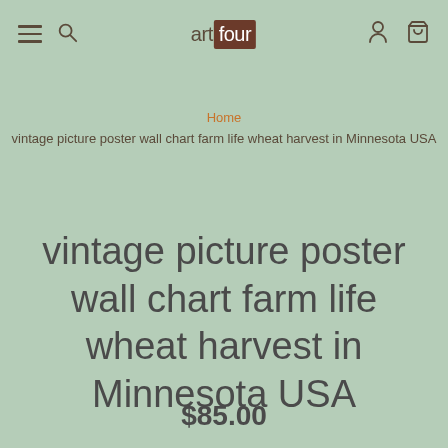artfour — navigation bar with hamburger, search, user, and cart icons
Home
vintage picture poster wall chart farm life wheat harvest in Minnesota USA
vintage picture poster wall chart farm life wheat harvest in Minnesota USA
$85.00